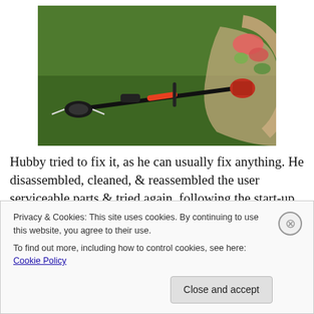[Figure (photo): A gas-powered string trimmer/weed whacker lying on green grass next to a curved stone garden border with plants and flowers.]
Hubby tried to fix it, as he can usually fix anything. He disassembled, cleaned, & reassembled the user serviceable parts & tried again, following the start-up
Privacy & Cookies: This site uses cookies. By continuing to use this website, you agree to their use.
To find out more, including how to control cookies, see here: Cookie Policy